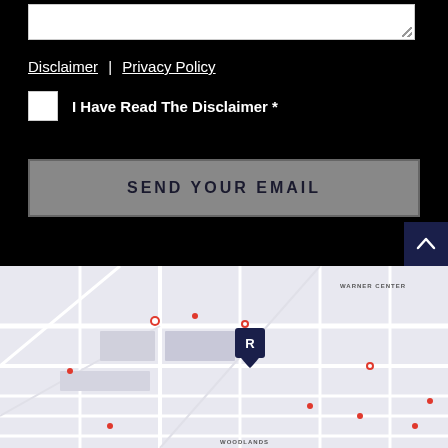[Figure (screenshot): White textarea input box with resize handle]
Disclaimer | Privacy Policy
I Have Read The Disclaimer *
SEND YOUR EMAIL
[Figure (map): Google Maps screenshot showing Warner Center area with an 'R' map marker]